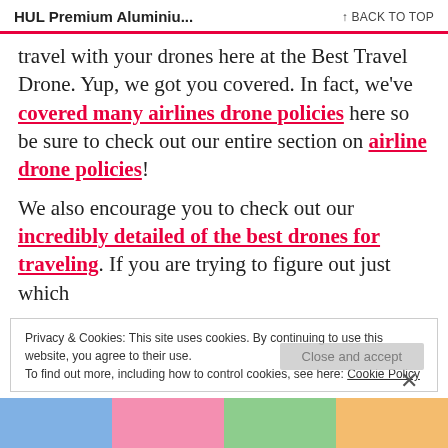HUL Premium Aluminiu... ↑ BACK TO TOP
travel with your drones here at the Best Travel Drone. Yup, we got you covered. In fact, we've covered many airlines drone policies here so be sure to check out our entire section on airline drone policies!
We also encourage you to check out our incredibly detailed of the best drones for traveling. If you are trying to figure out just which
Privacy & Cookies: This site uses cookies. By continuing to use this website, you agree to their use.
To find out more, including how to control cookies, see here: Cookie Policy